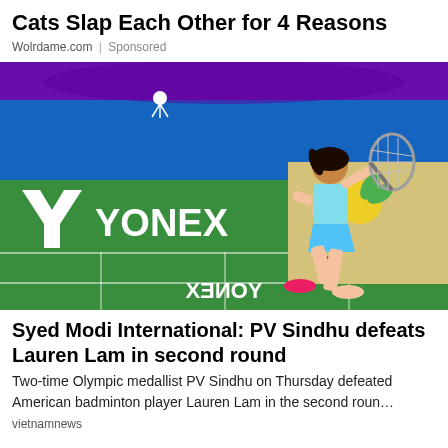Cats Slap Each Other for 4 Reasons
Wolrdame.com | Sponsored
[Figure (photo): Badminton player PV Sindhu on a green Yonex-branded court, lunging to return a shot. YONEX sponsor banners visible on the court backdrop. A shuttlecock is visible in the air upper left.]
Syed Modi International: PV Sindhu defeats Lauren Lam in second round
Two-time Olympic medallist PV Sindhu on Thursday defeated American badminton player Lauren Lam in the second roun…
vietnamnews